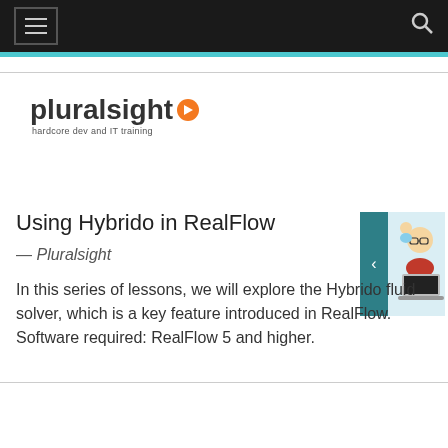Pluralsight — hardcore dev and IT training
[Figure (logo): Pluralsight logo with orange play button circle and tagline 'hardcore dev and IT training']
Using Hybrido in RealFlow
— Pluralsight
In this series of lessons, we will explore the Hybrido fluid solver, which is a key feature introduced in RealFlow. Software required: RealFlow 5 and higher.